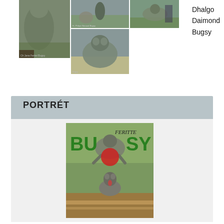[Figure (photo): Collection of four photos showing grey/blue dogs (Weimaraners or similar breed). Top-left: large photo of a grey dog standing on grass with a person's leg visible. Top-middle: photo of dogs at an outdoor event. Top-right: photo of a grey dog running/moving on grass. Bottom-middle: photo of a grey dog lying on a blanket outdoors.]
Dhalgo
Daimond
Bugsy
PORTRÉT
[Figure (photo): Square promotional photo of a grey/blue dog breed. The image features the text 'BU SY' in large green letters with 'FERITTE' in smaller black italic text above, and a red circular logo/heart in the center. The dog appears to be jumping in the upper portion and sitting looking upward in the lower portion of the image, set against a green outdoor background.]